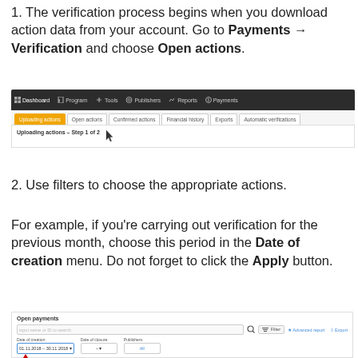1. The verification process begins when you download action data from your account. Go to Payments → Verification and choose Open actions.
[Figure (screenshot): Screenshot of a web interface showing a dark navigation bar with Dashboard, Program, Tools, Publishers, Reports, Payments menu items, and below it tabs: Uploading actions (active/orange), Open actions (with cursor), Confirmed actions, Financial history, Exports, Automatic verifications. Below: 'Uploading actions – Step 1 of 2' text.]
2. Use filters to choose the appropriate actions.
For example, if you're carrying out verification for the previous month, choose this period in the Date of creation menu. Do not forget to click the Apply button.
[Figure (screenshot): Screenshot of an 'Open payments' panel with a search field, Filter button, Advanced export and Export links, and filter fields for Date of creation (01.11.2018 – 30.11.2018 with a red arrow pointing to it), Date of closure, and Publishers.]